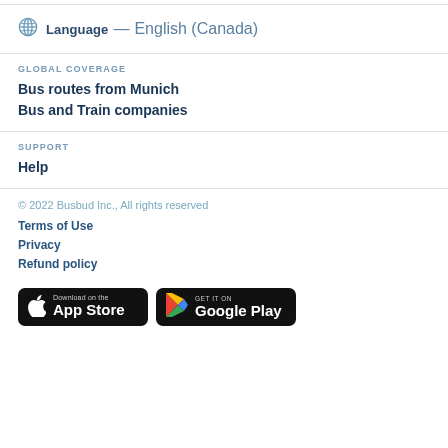Language — English (Canada)
GLOBAL COVERAGE
Bus routes from Munich
Bus and Train companies
SUPPORT
Help
© 2022 Busbud Inc., All rights reserved
Terms of Use
Privacy
Refund policy
[Figure (logo): Download on the App Store badge (black)]
[Figure (logo): GET IT ON Google Play badge (black)]